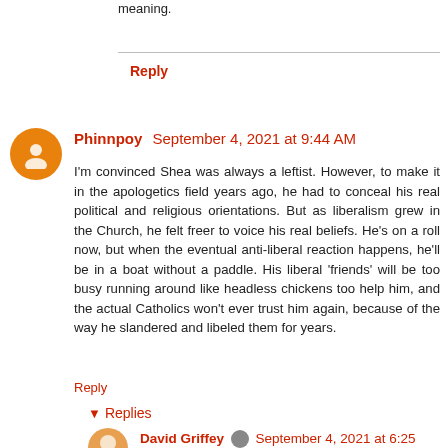meaning.
Reply
Phinnpoy  September 4, 2021 at 9:44 AM
I'm convinced Shea was always a leftist. However, to make it in the apologetics field years ago, he had to conceal his real political and religious orientations. But as liberalism grew in the Church, he felt freer to voice his real beliefs. He's on a roll now, but when the eventual anti-liberal reaction happens, he'll be in a boat without a paddle. His liberal 'friends' will be too busy running around like headless chickens too help him, and the actual Catholics won't ever trust him again, because of the way he slandered and libeled them for years.
Reply
Replies
David Griffey  September 4, 2021 at 6:25